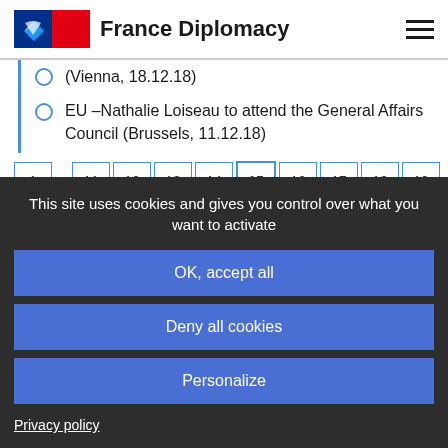France Diplomacy
(Vienna, 18.12.18)
EU –Nathalie Loiseau to attend the General Affairs Council (Brussels, 11.12.18)
1 … 11 12 13 14 15 16 17 18 19 … 20
The French Presidency of the Council of the European Union
This site uses cookies and gives you control over what you want to activate
OK, accept all
Deny all cookies
Personalize
Privacy policy